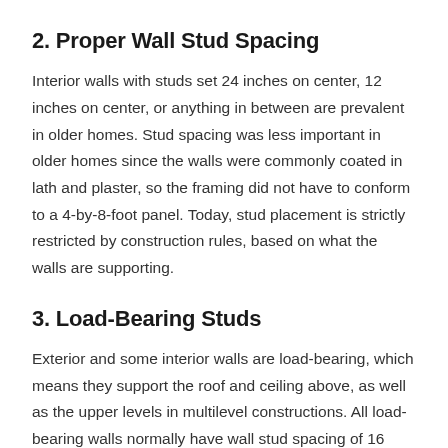2. Proper Wall Stud Spacing
Interior walls with studs set 24 inches on center, 12 inches on center, or anything in between are prevalent in older homes. Stud spacing was less important in older homes since the walls were commonly coated in lath and plaster, so the framing did not have to conform to a 4-by-8-foot panel. Today, stud placement is strictly restricted by construction rules, based on what the walls are supporting.
3. Load-Bearing Studs
Exterior and some interior walls are load-bearing, which means they support the roof and ceiling above, as well as the upper levels in multilevel constructions. All load-bearing walls normally have wall stud spacing of 16 inches on center.